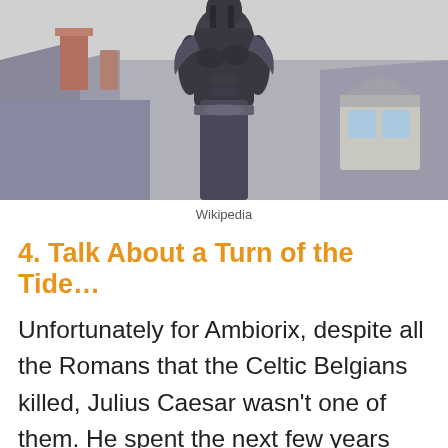[Figure (photo): Outdoor photograph of a dark bronze statue of a muscular male warrior figure (Ambiorix) with braided hair, no shirt, holding his chest, with European rooftops and chimneys in the background.]
Wikipedia
4. Talk About a Turn of the Tide…
Unfortunately for Ambiorix, despite all the Romans that the Celtic Belgians killed, Julius Caesar wasn't one of them. He spent the next few years massacring the Eburones until they were completely wiped